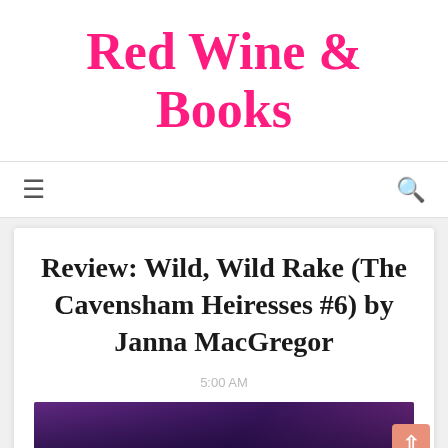Red Wine & Books
Review: Wild, Wild Rake (The Cavensham Heiresses #6) by Janna MacGregor
5:00 AM
[Figure (photo): Bottom portion of a book cover with purple/dark tones, partially visible]